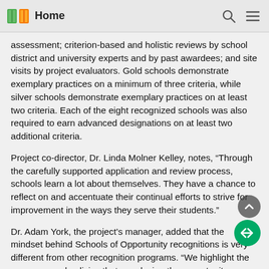Home
assessment; criterion-based and holistic reviews by school district and university experts and by past awardees; and site visits by project evaluators. Gold schools demonstrate exemplary practices on a minimum of three criteria, while silver schools demonstrate exemplary practices on at least two criteria. Each of the eight recognized schools was also required to earn advanced designations on at least two additional criteria.
Project co-director, Dr. Linda Molner Kelley, notes, “Through the carefully supported application and review process, schools learn a lot about themselves. They have a chance to reflect on and accentuate their continual efforts to strive for improvement in the ways they serve their students.”
Dr. Adam York, the project’s manager, added that the mindset behind Schools of Opportunity recognitions is very different from other recognition programs. “We highlight the programs and policies that are closing the opportunity gaps that create achievement gaps. We want to hold up schools that use best practices to really help students grow and succeed.